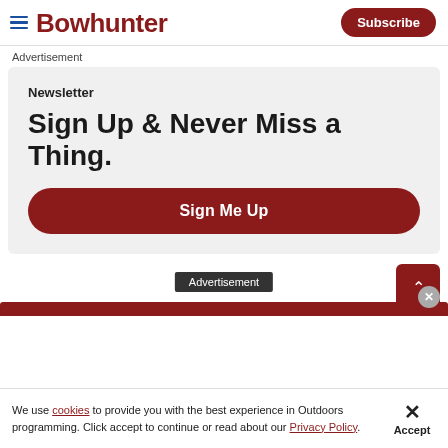Bowhunter | Subscribe
Advertisement
Newsletter
Sign Up & Never Miss a Thing.
Sign Me Up
Advertisement
We use cookies to provide you with the best experience in Outdoors programming. Click accept to continue or read about our Privacy Policy.